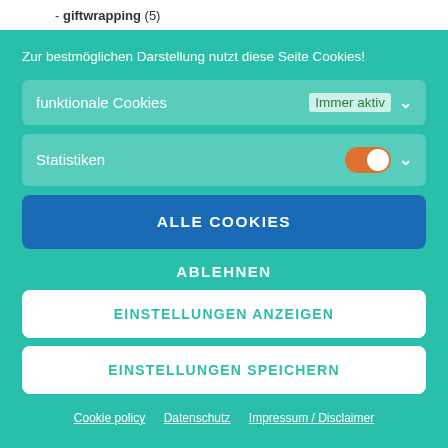- giftwrapping (5)
Zur bestmöglichen Darstellung nutzt diese Seite Cookies!
funktionale Cookies — Immer aktiv
Statistiken
ALLE COOKIES
ABLEHNEN
EINSTELLUNGEN ANZEIGEN
EINSTELLUNGEN SPEICHERN
Cookie policy   Datenschutz   Impressum / Disclaimer